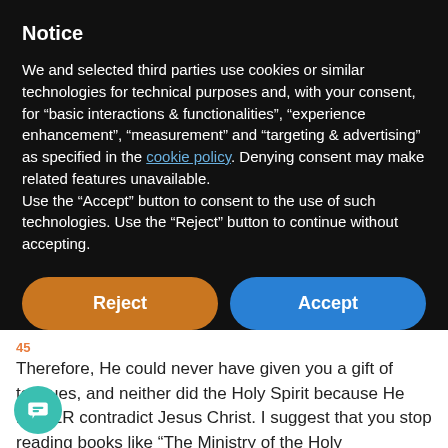Notice
We and selected third parties use cookies or similar technologies for technical purposes and, with your consent, for “basic interactions & functionalities”, “experience enhancement”, “measurement” and “targeting & advertising” as specified in the cookie policy. Denying consent may make related features unavailable.
Use the “Accept” button to consent to the use of such technologies. Use the “Reject” button to continue without accepting.
Reject
Accept
Learn more and customize
Therefore, He could never have given you a gift of tongues, and neither did the Holy Spirit because He NEVER contradict Jesus Christ. I suggest that you stop reading books like “The Ministry of the Holy